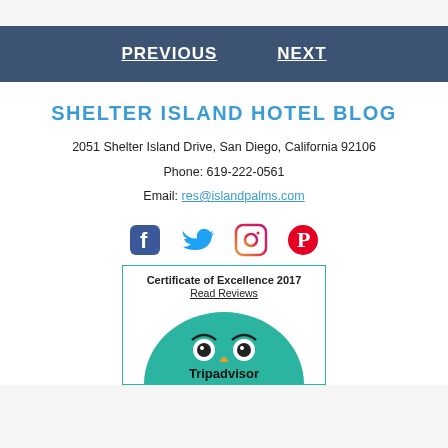PREVIOUS   NEXT
SHELTER ISLAND HOTEL BLOG
2051 Shelter Island Drive, San Diego, California 92106
Phone: 619-222-0561
Email: res@islandpalms.com
[Figure (infographic): Social media icons: Facebook, Twitter, Instagram, Pinterest]
[Figure (infographic): TripAdvisor Certificate of Excellence 2017 badge with Read Reviews link and Tripadvisor owl logo on green semicircle background]